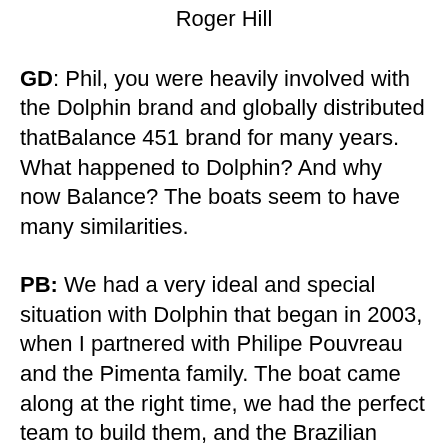Roger Hill
GD: Phil, you were heavily involved with the Dolphin brand and globally distributed thatBalance 451 brand for many years. What happened to Dolphin? And why now Balance? The boats seem to have many similarities.
PB: We had a very ideal and special situation with Dolphin that began in 2003, when I partnered with Philipe Pouvreau and the Pimenta family. The boat came along at the right time, we had the perfect team to build them, and the Brazilian currency and labor market at the time were favorable to build such a high labor hour boat. We had an excellent run, selling about 24 of them from 2003 to 2007, but